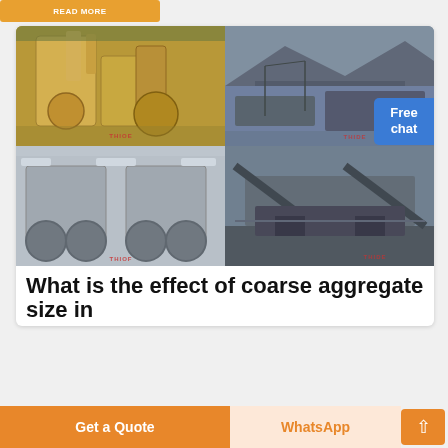[Figure (photo): Orange/yellow button at top with text (partially visible)]
[Figure (photo): 4-panel image grid showing industrial mining/crushing equipment and facilities with THIOE watermark branding]
Free chat
What is the effect of coarse aggregate size in
Get a Quote
WhatsApp